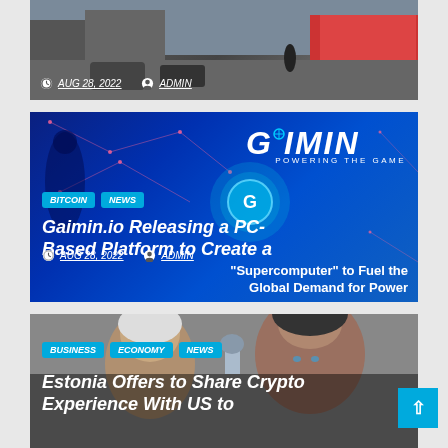[Figure (photo): Partial news card with dark street scene background, showing date AUG 28, 2022 and author ADMIN metadata]
AUG 28, 2022   ADMIN
[Figure (photo): Gaimin.io news card with blue digital network background, GAIMIN POWERING THE GAME logo, tags BITCOIN and NEWS, title 'Gaimin.io Releasing a PC-Based Platform to Create a', subtitle '"Supercomputer" to Fuel the Global Demand for Power', date AUG 28, 2022 and author ADMIN]
BITCOIN   NEWS
Gaimin.io Releasing a PC-Based Platform to Create a
AUG 28, 2022   ADMIN
"Supercomputer" to Fuel the Global Demand for Power
[Figure (photo): Estonia crypto news card with photo of two women, tags BUSINESS, ECONOMY, NEWS, title 'Estonia Offers to Share Crypto Experience With US to']
BUSINESS   ECONOMY   NEWS
Estonia Offers to Share Crypto Experience With US to